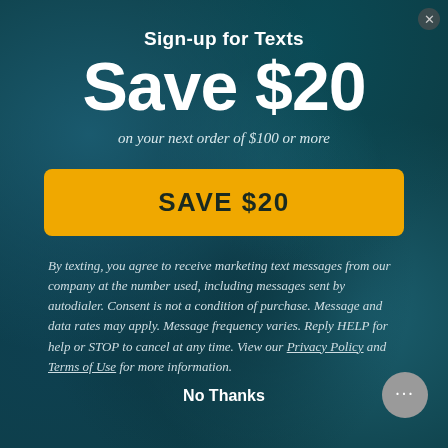Sign-up for Texts
Save $20
on your next order of $100 or more
SAVE $20
By texting, you agree to receive marketing text messages from our company at the number used, including messages sent by autodialer. Consent is not a condition of purchase. Message and data rates may apply. Message frequency varies. Reply HELP for help or STOP to cancel at any time. View our Privacy Policy and Terms of Use for more information.
No Thanks